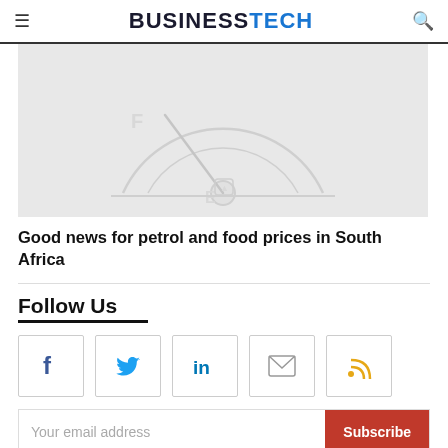BUSINESSTECH
[Figure (illustration): Fuel gauge illustration on grey background, showing a gauge near empty with F at top and E at the bottom, semi-circular dial shape in white/grey tones]
Good news for petrol and food prices in South Africa
Follow Us
[Figure (infographic): Row of five social media icon boxes: Facebook (f), Twitter (bird), LinkedIn (in), Email (envelope), RSS (wifi-like icon)]
Your email address Subscribe